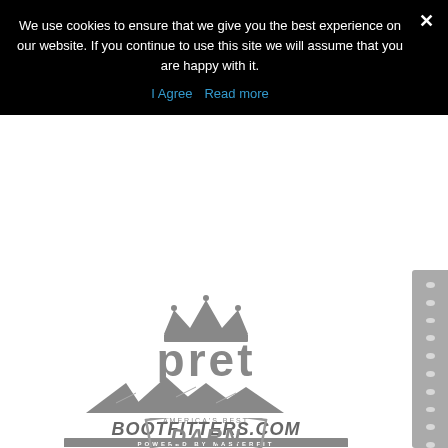We use cookies to ensure that we give you the best experience on our website. If you continue to use this site we will assume that you are happy with it.
I Agree  Read more
[Figure (logo): Pret ski brand logo - grey text 'pret' with crown icon above]
[Figure (logo): America's Best Bootfitters.com logo - grey mountain peaks above bold grey text 'BOOTFITTERS.COM' with 'POWERED BY MASTERFIT' banner below]
[Figure (logo): Darn Tough logo - partial grey shield logo with 'DARN' text visible at bottom of page]